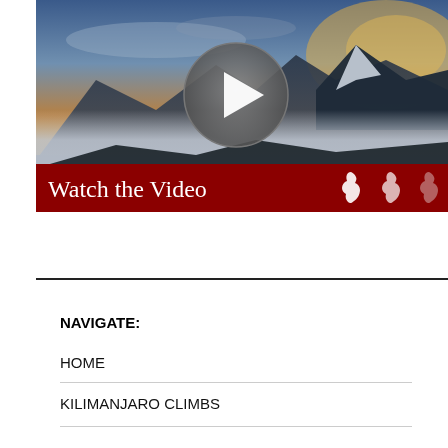[Figure (screenshot): Video thumbnail showing Mount Kilimanjaro with snow, sunset sky, a circular play button overlay, and a dark red banner at the bottom reading 'Watch the Video' with three Africa continent silhouette icons.]
NAVIGATE:
HOME
KILIMANJARO CLIMBS